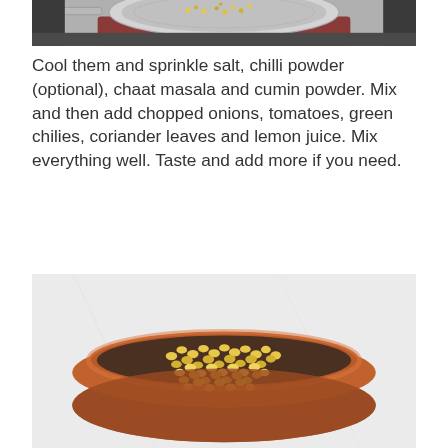[Figure (photo): Top portion of a photo showing a metal strainer/sieve over a dark pot on a stovetop, with corn or small food items visible]
Cool them and sprinkle salt, chilli powder (optional), chaat masala and cumin powder. Mix and then add chopped onions, tomatoes, green chilies, coriander leaves and lemon juice. Mix everything well. Taste and add more if you need.
[Figure (photo): A terracotta/clay bowl filled with cooked corn kernels (bhutta/corn chaat) on a white marble surface, viewed from above]